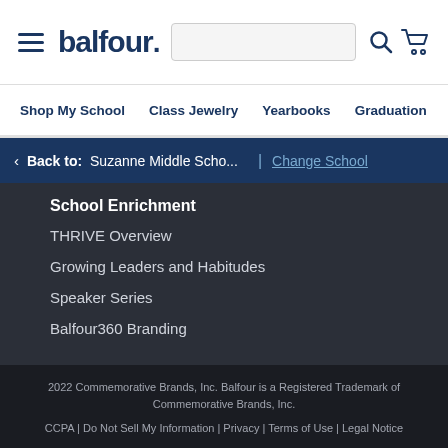balfour. Shop My School | Class Jewelry | Yearbooks | Graduation | Sc
< Back to: Suzanne Middle Scho... | Change School
School Enrichment
THRIVE Overview
Growing Leaders and Habitudes
Speaker Series
Balfour360 Branding
2022 Commemorative Brands, Inc. Balfour is a Registered Trademark of Commemorative Brands, Inc.
CCPA | Do Not Sell My Information | Privacy | Terms of Use | Legal Notice